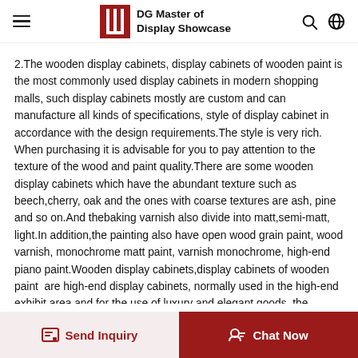DG Master of Display Showcase
2.The wooden display cabinets, display cabinets of wooden paint is the most commonly used display cabinets in modern shopping malls, such display cabinets mostly are custom and can manufacture all kinds of specifications, style of display cabinet in accordance with the design requirements.The style is very rich. When purchasing it is advisable for you to pay attention to the texture of the wood and paint quality.There are some wooden display cabinets which have the abundant texture such as beech,cherry, oak and the ones with coarse textures are ash, pine and so on.And thebaking varnish also divide into matt,semi-matt, light.In addition,the painting also have open wood grain paint, wood varnish, monochrome matt paint, varnish monochrome, high-end piano paint.Wooden display cabinets,display cabinets of wooden paint  are high-end display cabinets, normally used in the high-end exhibit area and for the use of luxury and elegant goods, the display cabinets should associated with all the showroom
Send Inquiry  Chat Now